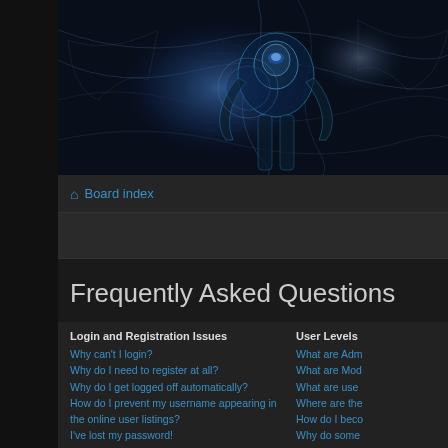[Figure (illustration): Dark sci-fi forum banner with a robot/armor figure and blue glowing sphere against dark background with flowing lines]
Board index
Frequently Asked Questions
Login and Registration Issues
Why can't I login?
Why do I need to register at all?
Why do I get logged off automatically?
How do I prevent my username appearing in the online user listings?
I've lost my password!
I registered but cannot login!
I registered in the past but cannot login any more?!
What is COPPA?
Why can't I register?
User Levels
What are Adm
What are Mod
What are use
Where are the
How do I beco
Why do some
What is a "De
What is 'The